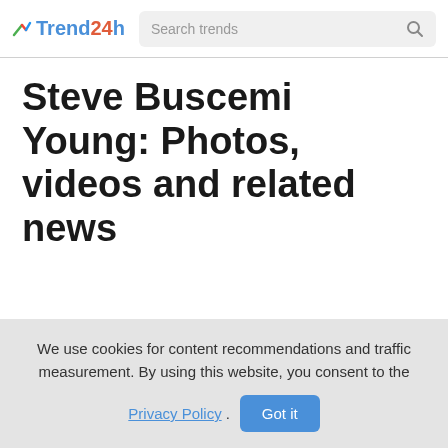Trend24h — Search trends
Steve Buscemi Young: Photos, videos and related news
We use cookies for content recommendations and traffic measurement. By using this website, you consent to the Privacy Policy. Got it